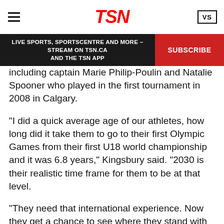TSN
LIVE SPORTS, SPORTSCENTRE AND MORE – STREAM ON TSN.CA AND THE TSN APP   SUBSCRIBE
including captain Marie Philip-Poulin and Natalie Spooner who played in the first tournament in 2008 in Calgary.
"I did a quick average age of our athletes, how long did it take them to go to their first Olympic Games from their first U18 world championship and it was 6.8 years," Kingsbury said. "2030 is their realistic time frame for them to be at that level.
"They need that international experience. Now they get a chance to see where they stand with the best in our country and be able to play at that level and raise their game to that level and pace. It's critical experience for them."
Canada lost 2-1 in overtime to the U.S. in the last under-18 final Jan. 2 in Bratislava, Slovakia in 2020.